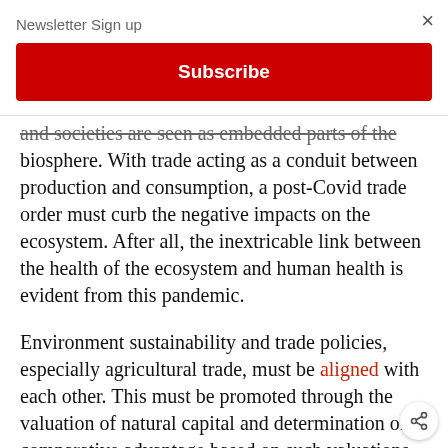Newsletter Sign up
Subscribe
and societies are seen as embedded parts of the biosphere. With trade acting as a conduit between production and consumption, a post-Covid trade order must curb the negative impacts on the ecosystem. After all, the inextricable link between the health of the ecosystem and human health is evident from this pandemic.
Environment sustainability and trade policies, especially agricultural trade, must be aligned with each other. This must be promoted through the valuation of natural capital and determination of comparative advantage based on such valuations